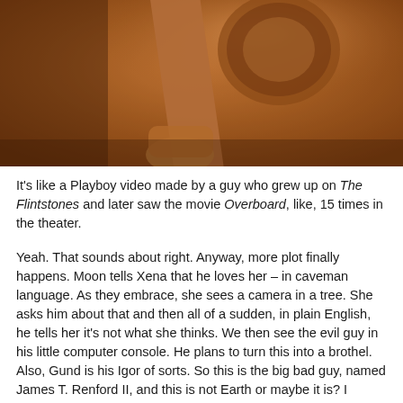[Figure (photo): Close-up photo of a wooden wheel or mechanical object with warm orange/brown tones, blurred background]
It's like a Playboy video made by a guy who grew up on The Flintstones and later saw the movie Overboard, like, 15 times in the theater.
Yeah. That sounds about right. Anyway, more plot finally happens. Moon tells Xena that he loves her – in caveman language. As they embrace, she sees a camera in a tree. She asks him about that and then all of a sudden, in plain English, he tells her it's not what she thinks. We then see the evil guy in his little computer console. He plans to turn this into a brothel. Also, Gund is his Igor of sorts. So this is the big bad guy, named James T. Renford II, and this is not Earth or maybe it is? I dunno. It's very foggy what planet this is.